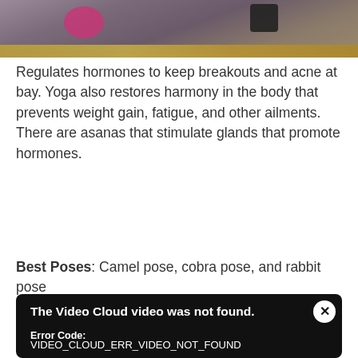[Figure (photo): Photo of yoga mat or yoga exercise items, partially visible at top of page, with blurred golden/orange bar near bottom of image]
Regulates hormones to keep breakouts and acne at bay. Yoga also restores harmony in the body that prevents weight gain, fatigue, and other ailments. There are asanas that stimulate glands that promote hormones.
Best Poses: Camel pose, cobra pose, and rabbit pose
[Figure (screenshot): Video player error overlay on black background. Title: 'The Video Cloud video was not found.' Error Code: VIDEO_CLOUD_ERR_VIDEO_NOT_FOUND. Session ID: 2022-09-01:1d8b49fdc2640a7437d775d0 Player Element ID: vjs_video_3. Close button (X) in top right corner.]